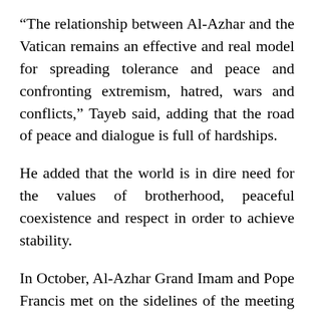“The relationship between Al-Azhar and the Vatican remains an effective and real model for spreading tolerance and peace and confronting extremism, hatred, wars and conflicts,” Tayeb said, adding that the road of peace and dialogue is full of hardships.
He added that the world is in dire need for the values of brotherhood, peaceful coexistence and respect in order to achieve stability.
In October, Al-Azhar Grand Imam and Pope Francis met on the sidelines of the meeting on